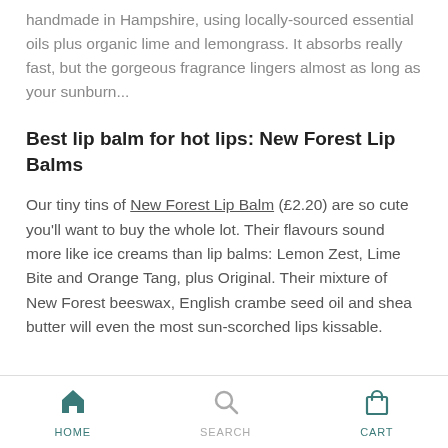handmade in Hampshire, using locally-sourced essential oils plus organic lime and lemongrass. It absorbs really fast, but the gorgeous fragrance lingers almost as long as your sunburn...
Best lip balm for hot lips: New Forest Lip Balms
Our tiny tins of New Forest Lip Balm (£2.20) are so cute you'll want to buy the whole lot. Their flavours sound more like ice creams than lip balms: Lemon Zest, Lime Bite and Orange Tang, plus Original. Their mixture of New Forest beeswax, English crambe seed oil and shea butter will even the most sun-scorched lips kissable.
HOME  SEARCH  CART